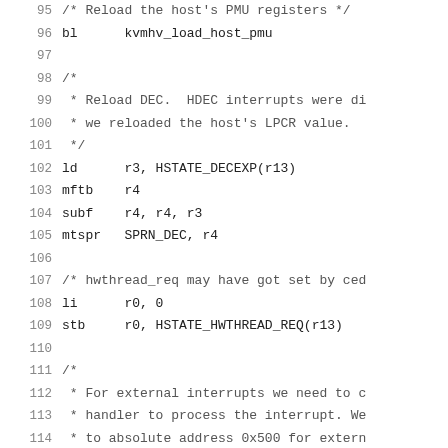code listing lines 95-116, assembly source code with comments
95: /* Reload the host's PMU registers */
96: bl      kvmhv_load_host_pmu
97: (blank)
98: /*
99:  * Reload DEC.  HDEC interrupts were di
100:  * we reloaded the host's LPCR value.
101:  */
102: ld      r3, HSTATE_DECEXP(r13)
103: mftb    r4
104: subf    r4, r4, r3
105: mtspr   SPRN_DEC, r4
106: (blank)
107: /* hwthread_req may have got set by ced
108: li      r0, 0
109: stb     r0, HSTATE_HWTHREAD_REQ(r13)
110: (blank)
111: /*
112:  * For external interrupts we need to c
113:  * handler to process the interrupt. We
114:  * to absolute address 0x500 for extern
115:  * The [h]rfid at the end of the handle
116:  * the book3s_hv_interrupts.S code. For